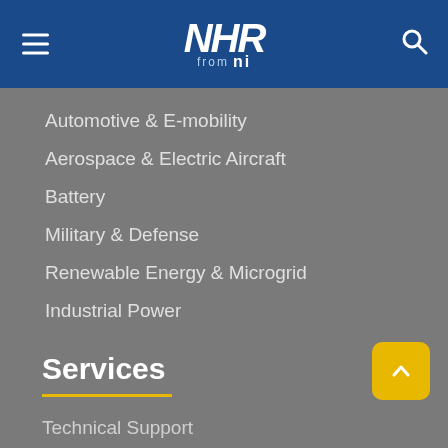NHR from NI
Automotive & E-mobility
Aerospace & Electric Aircraft
Battery
Military & Defense
Renewable Energy & Microgrid
Industrial Power
Services
Technical Support